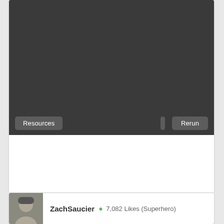[Figure (screenshot): Dark video/animation player area with controls bar at bottom showing Resources button, speed buttons (1×, 0.5×, 0.25×), and Rerun button]
ZachSaucier  ● 7,082 Likes (Superhero)